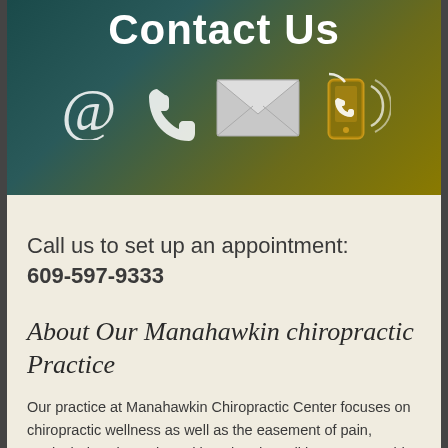[Figure (infographic): Contact Us banner image with gradient background (teal to gold), showing white icons: @ symbol, telephone handset, envelope/mail, and mobile phone with signal waves. Large white text reads 'Contact Us' at top.]
Call us to set up an appointment:
609-597-9333
About Our Manahawkin chiropractic Practice
Our practice at Manahawkin Chiropractic Center focuses on chiropractic wellness as well as the easement of pain, particularly spine pain and its related conditions. We provide comprehensive care for back pain, neck pain, headaches, shoulder pain, arm pain, leg pain, and injuries to the body from